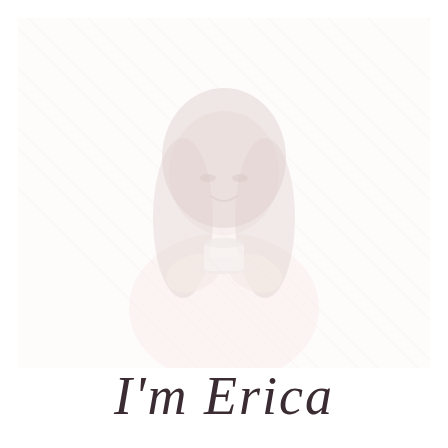[Figure (photo): Faded/washed-out photo of a smiling young woman with long dark hair holding a white coffee cup and saucer. She is wearing a light pink sweater. The background is white. A diagonal watermark/grid pattern overlays the image.]
I'm Erica